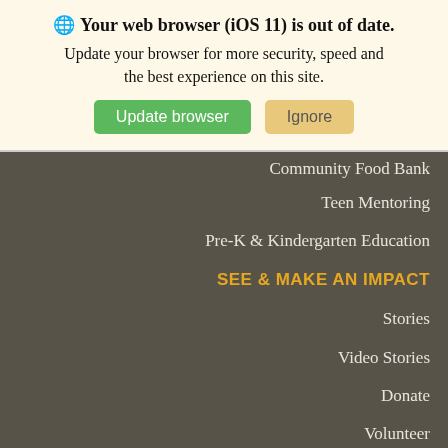🌐 Your web browser (iOS 11) is out of date. Update your browser for more security, speed and the best experience on this site.
Update browser | Ignore
Community Food Bank
Teen Mentoring
Pre-K & Kindergarten Education
SEE & MAKE AN IMPACT
Stories
Video Stories
Donate
Volunteer
Donate Goods
Pray with Us
Careers / Join Our Team
Events